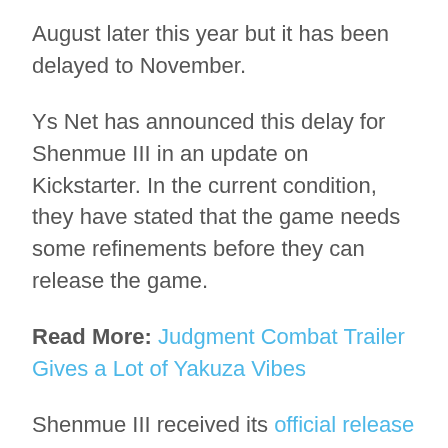August later this year but it has been delayed to November.
Ys Net has announced this delay for Shenmue III in an update on Kickstarter. In the current condition, they have stated that the game needs some refinements before they can release the game.
Read More: Judgment Combat Trailer Gives a Lot of Yakuza Vibes
Shenmue III received its official release date earlier this year. It was supposed to launch on August 27, 2019, and even had an official box art giving us a final look at the artwork for the game. After the announcement today, it has been pushed back to